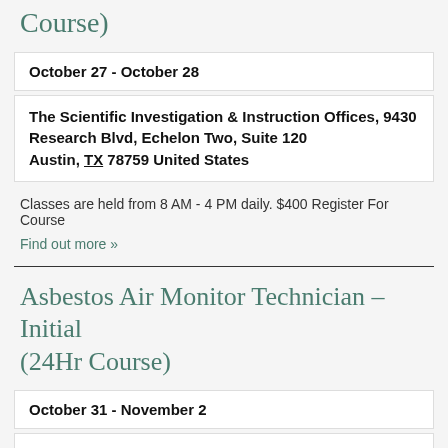Course)
| October 27 - October 28 |
| The Scientific Investigation & Instruction Offices, 9430 Research Blvd, Echelon Two, Suite 120
Austin, TX 78759 United States |
Classes are held from 8 AM - 4 PM daily.  $400 Register For Course
Find out more »
Asbestos Air Monitor Technician – Initial (24Hr Course)
| October 31 - November 2 |
| The Scientific Investigation & Instruction Offices, 9430 Research Blvd, Echelon Two, Suite 120 |